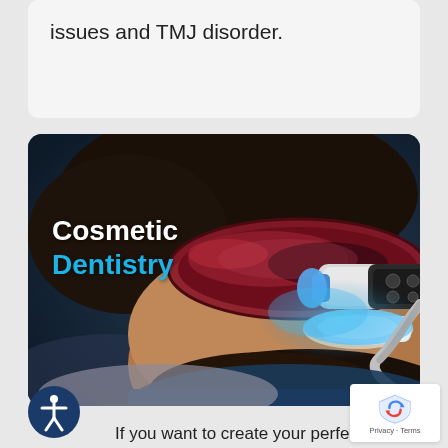issues and TMJ disorder.
[Figure (photo): A man receiving cosmetic teeth whitening treatment at a dental clinic. He is wearing protective red-tinted goggles while a dental professional applies a blue UV light whitening device to his teeth. The scene is set against a dark blue clinical background.]
Cosmetic Dentistry
If you want to create your perfect smile,